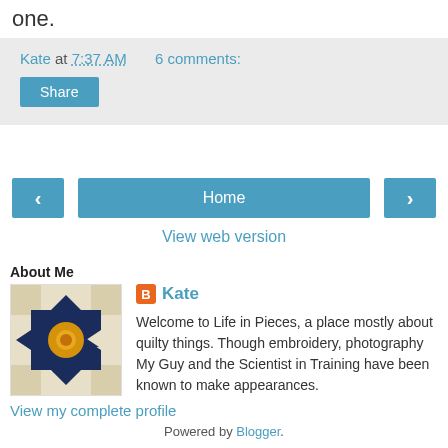one.
Kate at 7:37 AM    6 comments:
Share
< Home >
View web version
About Me
[Figure (photo): Quilt block photo showing a star pattern in dark blue and gold on a light background]
Kate
Welcome to Life in Pieces, a place mostly about quilty things. Though embroidery, photography My Guy and the Scientist in Training have been known to make appearances.
View my complete profile
Powered by Blogger.